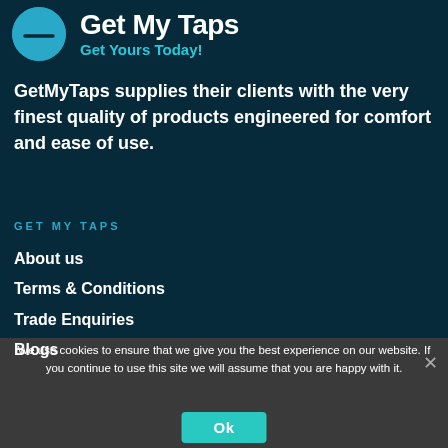[Figure (logo): GetMyTaps logo: blue circle with horizontal line, brand name and tagline]
GetMyTaps supplies their clients with the very finest quality of products engineered for comfort and ease of use.
GET MY TAPS
About us
Terms & Conditions
Trade Enquiries
Blogs
We use cookies to ensure that we give you the best experience on our website. If you continue to use this site we will assume that you are happy with it.